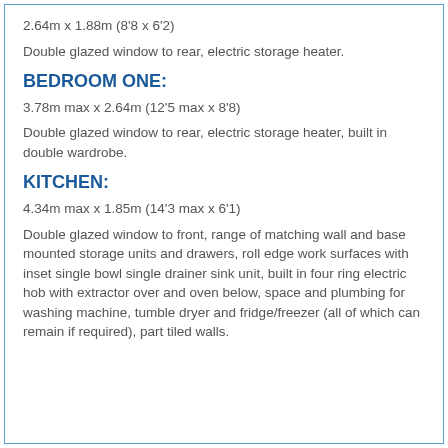2.64m x 1.88m (8'8 x 6'2)
Double glazed window to rear, electric storage heater.
BEDROOM ONE:
3.78m max x 2.64m (12'5 max x 8'8)
Double glazed window to rear, electric storage heater, built in double wardrobe.
KITCHEN:
4.34m max x 1.85m (14'3 max x 6'1)
Double glazed window to front, range of matching wall and base mounted storage units and drawers, roll edge work surfaces with inset single bowl single drainer sink unit, built in four ring electric hob with extractor over and oven below, space and plumbing for washing machine, tumble dryer and fridge/freezer (all of which can remain if required), part tiled walls.